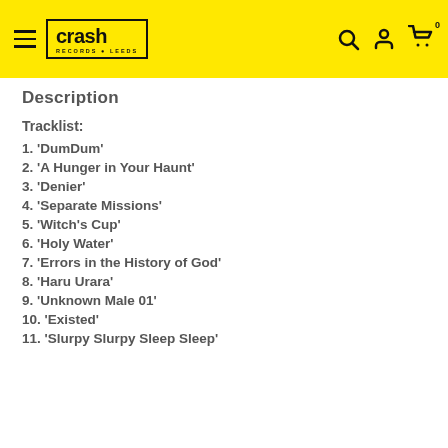Crash Records Leeds
Description
Tracklist:
1. 'DumDum'
2. 'A Hunger in Your Haunt'
3. 'Denier'
4. 'Separate Missions'
5. 'Witch's Cup'
6. 'Holy Water'
7. 'Errors in the History of God'
8. 'Haru Urara'
9. 'Unknown Male 01'
10. 'Existed'
11. 'Slurpy Slurpy Sleep Sleep'